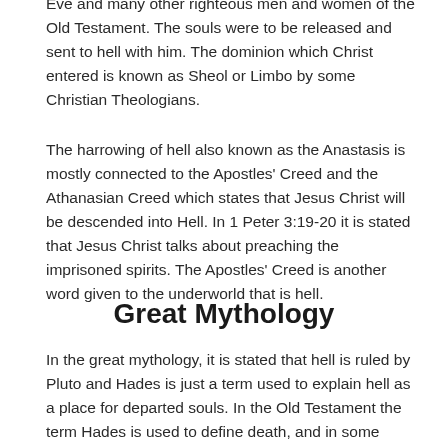Eve and many other righteous men and women of the Old Testament. The souls were to be released and sent to hell with him. The dominion which Christ entered is known as Sheol or Limbo by some Christian Theologians.
The harrowing of hell also known as the Anastasis is mostly connected to the Apostles' Creed and the Athanasian Creed which states that Jesus Christ will be descended into Hell. In 1 Peter 3:19-20 it is stated that Jesus Christ talks about preaching the imprisoned spirits. The Apostles' Creed is another word given to the underworld that is hell.
Great Mythology
In the great mythology, it is stated that hell is ruled by Pluto and Hades is just a term used to explain hell as a place for departed souls. In the Old Testament the term Hades is used to define death, and in some places, it is referred as a place where the dead awaits